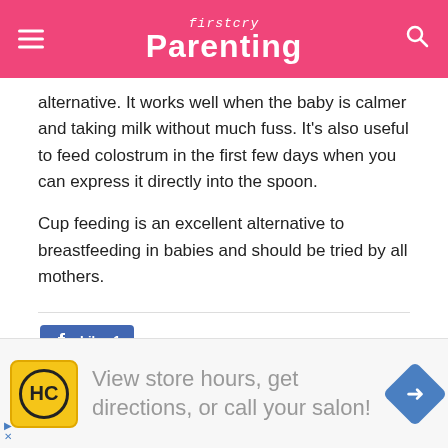firstcry Parenting
alternative. It works well when the baby is calmer and taking milk without much fuss. It's also useful to feed colostrum in the first few days when you can express it directly into the spoon.
Cup feeding is an excellent alternative to breastfeeding in babies and should be tried by all mothers.
[Figure (screenshot): Facebook Like button showing count of 1]
[Figure (screenshot): Social share buttons: collapse toggle, Twitter, Pinterest, WhatsApp]
[Figure (infographic): Advertisement banner: View store hours, get directions, or call your salon!]